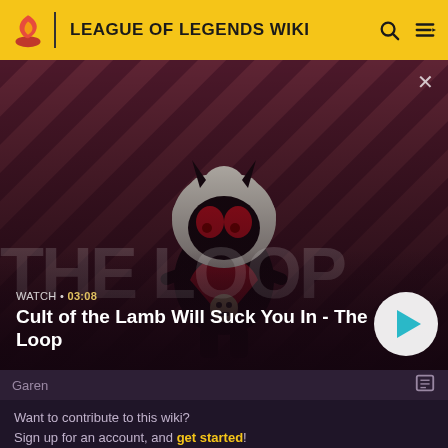LEAGUE OF LEGENDS WIKI
[Figure (screenshot): Video thumbnail for 'Cult of the Lamb Will Suck You In - The Loop' showing a cartoon lamb character with devil horns on a diagonal red and dark purple striped background. Duration shown as 03:08. Large play button on the right.]
Garen
Want to contribute to this wiki? Sign up for an account, and get started! You can even turn off ads in your preferences.